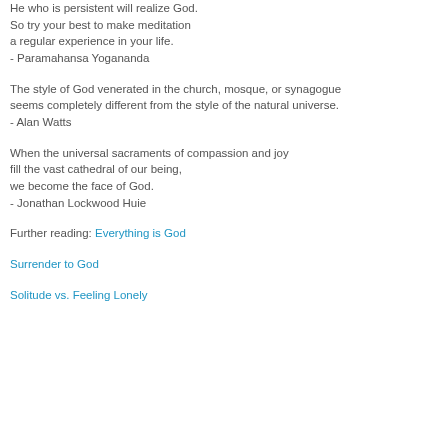He who is persistent will realize God.
So try your best to make meditation
a regular experience in your life.
- Paramahansa Yogananda
The style of God venerated in the church, mosque, or synagogue
seems completely different from the style of the natural universe.
- Alan Watts
When the universal sacraments of compassion and joy
fill the vast cathedral of our being,
we become the face of God.
- Jonathan Lockwood Huie
Further reading: Everything is God
Surrender to God
Solitude vs. Feeling Lonely